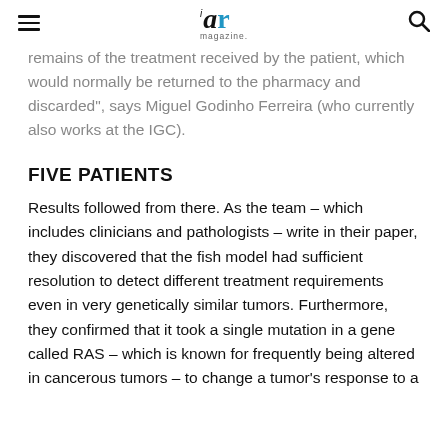ar magazine
remains of the treatment received by the patient, which would normally be returned to the pharmacy and discarded", says Miguel Godinho Ferreira (who currently also works at the IGC).
FIVE PATIENTS
Results followed from there. As the team – which includes clinicians and pathologists – write in their paper, they discovered that the fish model had sufficient resolution to detect different treatment requirements even in very genetically similar tumors. Furthermore, they confirmed that it took a single mutation in a gene called RAS – which is known for frequently being altered in cancerous tumors – to change a tumor's response to a